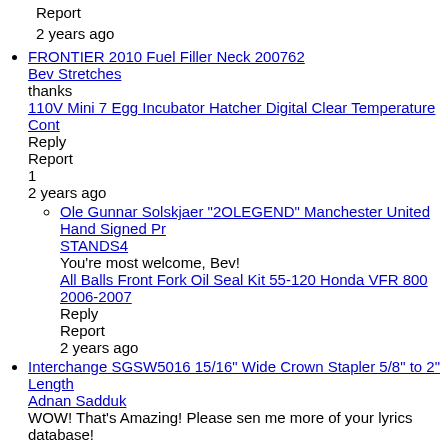Report
2 years ago
FRONTIER 2010 Fuel Filler Neck 200762
Bev Stretches
thanks
110V Mini 7 Egg Incubator Hatcher Digital Clear Temperature Cont
Reply
Report
1
2 years ago
Ole Gunnar Solskjaer "2OLEGEND" Manchester United Hand Signed Pr
STANDS4
You're most welcome, Bev!
All Balls Front Fork Oil Seal Kit 55-120 Honda VFR 800 2006-2007
Reply
Report
2 years ago
Interchange SGSW5016 15/16" Wide Crown Stapler 5/8" to 2" Length
Adnan Sadduk
WOW! That's Amazing! Please sen me more of your lyrics database!